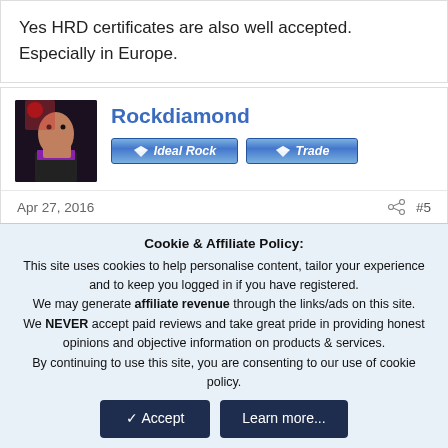Yes HRD certificates are also well accepted. Especially in Europe.
Rockdiamond
[Figure (illustration): User avatar showing a person in dramatic lighting, and two blue diamond badge buttons labeled 'Ideal Rock' and 'Trade']
Apr 27, 2016   #5
The overwhelming likelihood is that the stone would not grade close to the same way if GIA did the report. For that reason,
Cookie & Affiliate Policy: This site uses cookies to help personalise content, tailor your experience and to keep you logged in if you have registered. We may generate affiliate revenue through the links/ads on this site. We NEVER accept paid reviews and take great pride in providing honest opinions and objective information on products & services. By continuing to use this site, you are consenting to our use of cookie policy.